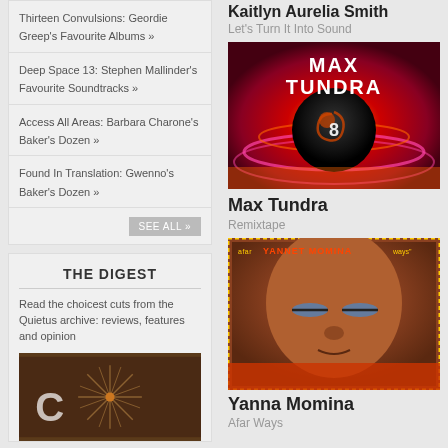Thirteen Convulsions: Geordie Greep's Favourite Albums »
Deep Space 13: Stephen Mallinder's Favourite Soundtracks »
Access All Areas: Barbara Charone's Baker's Dozen »
Found In Translation: Gwenno's Baker's Dozen »
THE DIGEST
Read the choicest cuts from the Quietus archive: reviews, features and opinion
[Figure (photo): Dark brown image with a starburst/spiky decorative object and the letter C visible]
Kaitlyn Aurelia Smith
Let's Turn It Into Sound
[Figure (photo): Max Tundra album cover - red and orange swirling background with a large black 8-ball in center on pink/red waves]
Max Tundra
Remixtape
[Figure (photo): Yanna Momina album cover - close-up portrait of elderly African woman with colorful dotted border]
Yanna Momina
Afar Ways